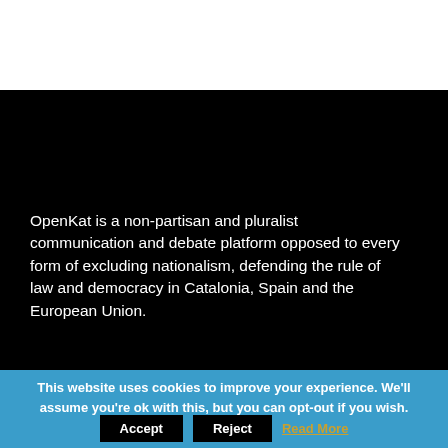OpenKat is a non-partisan and pluralist communication and debate platform opposed to every form of excluding nationalism, defending the rule of law and democracy in Catalonia, Spain and the European Union.
[Figure (logo): OpenKat logo: blue rounded square background with white circle containing Spanish flag stripes (red/yellow/red), and yellow 'K' letter to the right]
This website uses cookies to improve your experience. We'll assume you're ok with this, but you can opt-out if you wish.
Accept   Reject   Read More